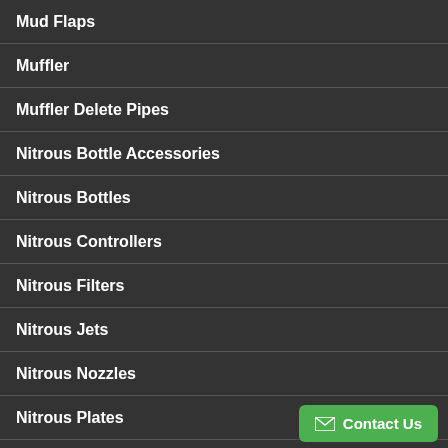Mud Flaps
Muffler
Muffler Delete Pipes
Nitrous Bottle Accessories
Nitrous Bottles
Nitrous Controllers
Nitrous Filters
Nitrous Jets
Nitrous Nozzles
Nitrous Plates
Nitrous Systems